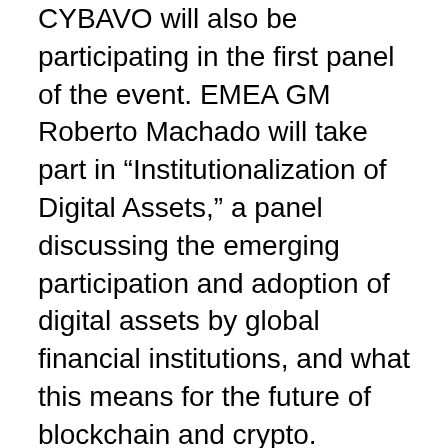CYBAVO will also be participating in the first panel of the event. EMEA GM Roberto Machado will take part in “Institutionalization of Digital Assets,” a panel discussing the emerging participation and adoption of digital assets by global financial institutions, and what this means for the future of blockchain and crypto.
Don’t miss out on this opportunity to connect with the brightest minds in the industry! Register to participate now at https://eblockchainconvention.com/ or reach out to your CYBAVO sales representative for more information on how to join.